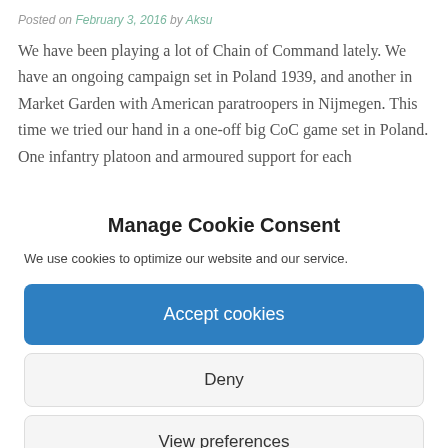Posted on February 3, 2016 by Aksu
We have been playing a lot of Chain of Command lately. We have an ongoing campaign set in Poland 1939, and another in Market Garden with American paratroopers in Nijmegen. This time we tried our hand in a one-off big CoC game set in Poland. One infantry platoon and armoured support for each
Manage Cookie Consent
We use cookies to optimize our website and our service.
Accept cookies
Deny
View preferences